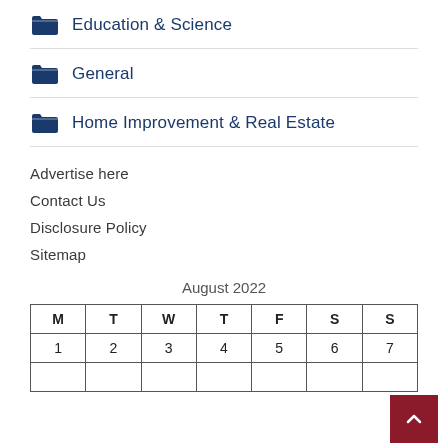Education & Science
General
Home Improvement & Real Estate
Advertise here
Contact Us
Disclosure Policy
Sitemap
August 2022
| M | T | W | T | F | S | S |
| --- | --- | --- | --- | --- | --- | --- |
| 1 | 2 | 3 | 4 | 5 | 6 | 7 |
|  |  |  |  |  |  |  |